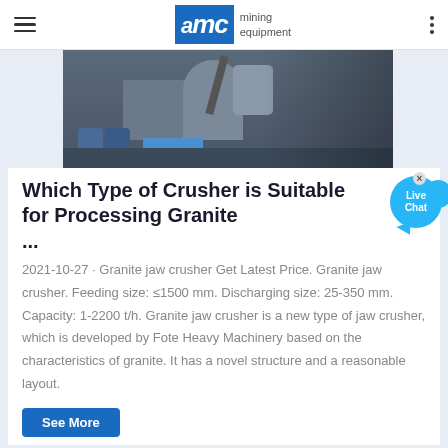AMC mining equipment
[Figure (photo): Industrial granite crushing machinery and equipment in a facility, showing crushers, pipes, and barrels]
Which Type of Crusher is Suitable for Processing Granite ...
2021-10-27 · Granite jaw crusher Get Latest Price. Granite jaw crusher. Feeding size: ≤1500 mm. Discharging size: 25-350 mm. Capacity: 1-2200 t/h. Granite jaw crusher is a new type of jaw crusher, which is developed by Fote Heavy Machinery based on the characteristics of granite. It has a novel structure and a reasonable layout.